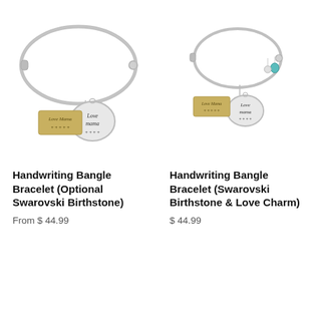[Figure (photo): Silver handwriting bangle bracelet with oval engraved charm showing 'Love Mama' in handwriting script, and a small golden rectangular tag also showing 'Love Mama + + + + +'. Left product image.]
[Figure (photo): Silver handwriting bangle bracelet with oval engraved charm, a small golden rectangular tag showing 'Love Mama + + + + +', and a teal Swarovski birthstone crystal charm plus a small heart/love charm. Right product image.]
Handwriting Bangle Bracelet (Optional Swarovski Birthstone)
From $ 44.99
Handwriting Bangle Bracelet (Swarovski Birthstone & Love Charm)
$ 44.99